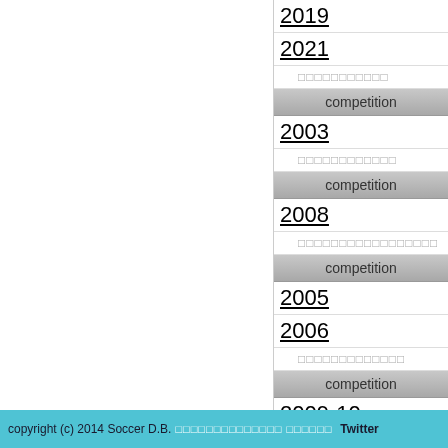2019
2021
□□□□□□□□□□□
competition
2003
□□□□□□□□□□□□
competition
2008
□□□□□□□□□□□□□□□□□
competition
2005
2006
□□□□□□□□□□□□□
competition
2009-10
copyright (c) 2014 Soccer D.B.  □□□□□□□□□□□□□□  □□□□□□  Twitter